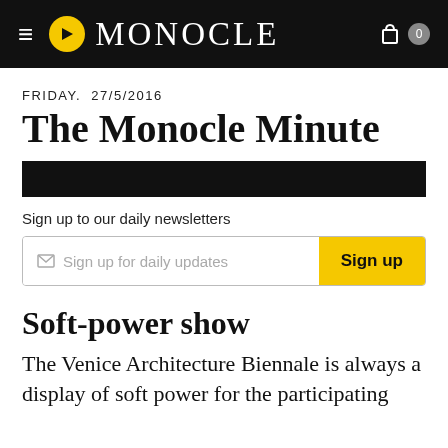MONOCLE
FRIDAY.  27/5/2016
The Monocle Minute
Sign up to our daily newsletters
Sign up for daily updates   Sign up
Soft-power show
The Venice Architecture Biennale is always a display of soft power for the participating